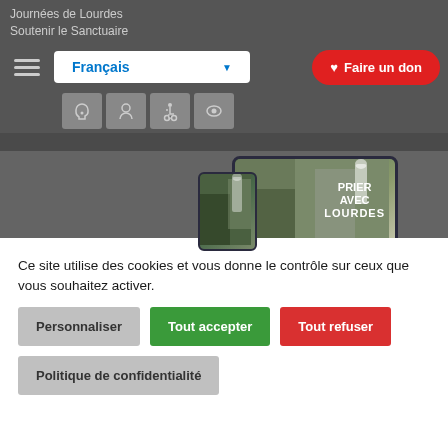Journées de Lourdes
Soutenir le Sanctuaire
[Figure (screenshot): Navigation bar with hamburger menu, French language selector dropdown, and red 'Faire un don' (donate) button with heart icon. Below are four accessibility icons (hearing, audio description, wheelchair, visual).]
[Figure (screenshot): Device mockup showing tablet and phone with 'PRIER AVEC LOURDES' text overlay on a nature/grotto background with a white statue silhouette.]
Ce site utilise des cookies et vous donne le contrôle sur ceux que vous souhaitez activer.
Personnaliser
Tout accepter
Tout refuser
Politique de confidentialité